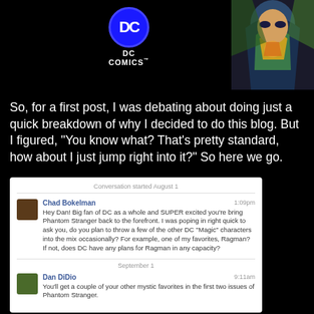[Figure (illustration): DC Comics logo with blue circle and stylized 'DC' text above 'DC COMICS' label, alongside comic book artwork showing a colorful superhero character]
So, for a first post, I was debating about doing just a quick breakdown of why I decided to do this blog. But I figured, "You know what? That's pretty standard, how about I just jump right into it?" So here we go.
[Figure (screenshot): Facebook conversation screenshot. Conversation started August 1. Chad Bokelman at 1:09pm: Hey Dan! Big fan of DC as a whole and SUPER excited you're bring Phantom Stranger back to the forefront. I was poping in right quick to ask you, do you plan to throw a few of the other DC "Magic" characters into the mix occasionally? For example, one of my favorites, Ragman? If not, does DC have any plans for Ragman in any capacity? Separator: September 1. Dan DiDio at 9:11am: You'll get a couple of your other mystic favorites in the first two issues of Phantom Stranger.]
With the DC relaunch of their universe in the form of the New 52, we've seen a lot of reinventions of historic characters in both look and portrayal. However, one we have yet to see is a DC New 52 version of Ragman. Unfortunately there is no official word